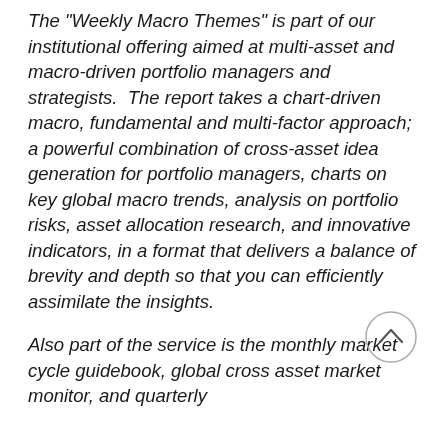The "Weekly Macro Themes" is part of our institutional offering aimed at multi-asset and macro-driven portfolio managers and strategists.  The report takes a chart-driven macro, fundamental and multi-factor approach; a powerful combination of cross-asset idea generation for portfolio managers, charts on key global macro trends, analysis on portfolio risks, asset allocation research, and innovative indicators, in a format that delivers a balance of brevity and depth so that you can efficiently assimilate the insights.
Also part of the service is the monthly market cycle guidebook, global cross asset market monitor, and quarterly